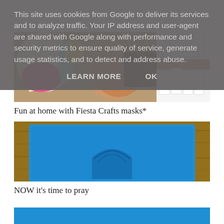This site uses cookies from Google to deliver its services and to analyze traffic. Your IP address and user-agent are shared with Google along with performance and security metrics to ensure quality of service, generate usage statistics, and to detect and address abuse.
LEARN MORE    OK
[Figure (photo): Photo of a child playing with colorful Fiesta Crafts masks, including a large teeth/mouth mask visible on the right side. Colorful paper craft pieces visible on the left.]
Fun at home with Fiesta Crafts masks*
[Figure (photo): Photo of a blue prayer mat with an arch/mosque dome motif on a wooden surface background.]
NOW it's time to pray